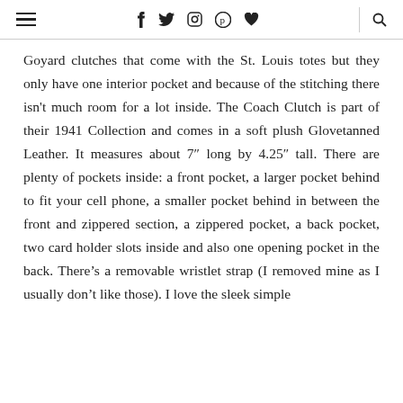≡  f  𝕥  ⓘ  𝗽  ♥  🔍
Goyard clutches that come with the St. Louis totes but they only have one interior pocket and because of the stitching there isn't much room for a lot inside. The Coach Clutch is part of their 1941 Collection and comes in a soft plush Glovetanned Leather. It measures about 7″ long by 4.25″ tall. There are plenty of pockets inside: a front pocket, a larger pocket behind to fit your cell phone, a smaller pocket behind in between the front and zippered section, a zippered pocket, a back pocket, two card holder slots inside and also one opening pocket in the back. There's a removable wristlet strap (I removed mine as I usually don't like those). I love the sleek simple